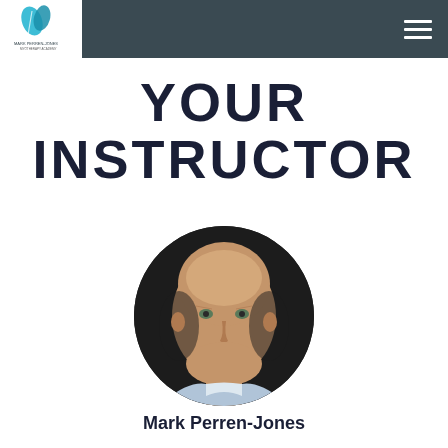Mark Perren-Jones - Your Instructor (navigation header with logo and menu)
YOUR INSTRUCTOR
[Figure (photo): Circular portrait photo of Mark Perren-Jones, a bald man in a light blue shirt, against a dark background]
Mark Perren-Jones